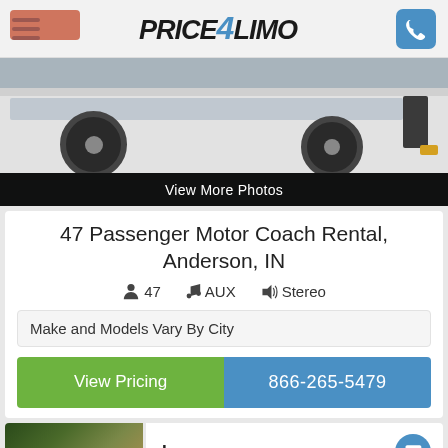Price4Limo
[Figure (photo): White motor coach bus photographed from the side/rear, showing wheels, door, and headlights in a parking lot setting]
View More Photos
47 Passenger Motor Coach Rental, Anderson, IN
47  AUX  Stereo
Make and Models Vary By City
View Pricing
866-265-5479
[Figure (photo): Partial view of vehicle (possibly a car or bus) with trees in the background]
Leave a message